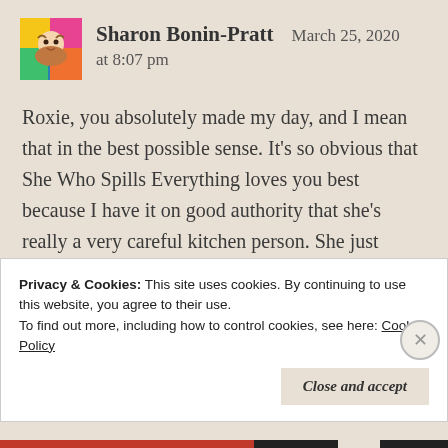[Figure (photo): Avatar image of Sharon Bonin-Pratt — colorful illustrated portrait]
Sharon Bonin-Pratt   March 25, 2020
at 8:07 pm
Roxie, you absolutely made my day, and I mean that in the best possible sense. It's so obvious that She Who Spills Everything loves you best because I have it on good authority that she's really a very careful kitchen person. She just doesn't want you to lose your natural hunting skills. Then you'd be as useless as Iddie Biddie Widdle Cupie Doll, who couldn't find a catnip mouse were it left in her bowl of Meow Mix. You
Privacy & Cookies: This site uses cookies. By continuing to use this website, you agree to their use.
To find out more, including how to control cookies, see here: Cookie Policy
Close and accept